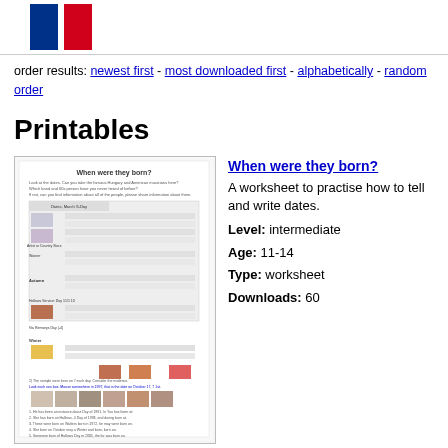[Figure (illustration): French flag with blue and red vertical stripes on white background, displayed as a simple logo/flag icon in the page header]
order results: newest first - most downloaded first - alphabetically - random order
Printables
[Figure (screenshot): Thumbnail of a worksheet titled 'When were they born?' showing calendar grids, photos of people, and fill-in-the-blank exercises]
When were they born?
A worksheet to practise how to tell and write dates.
Level: intermediate
Age: 11-14
Type: worksheet
Downloads: 60
PETS